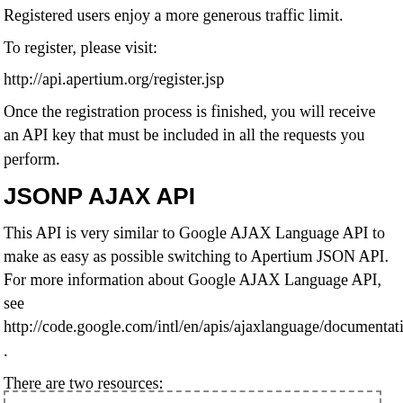Registered users enjoy a more generous traffic limit.
To register, please visit:
http://api.apertium.org/register.jsp
Once the registration process is finished, you will receive an API key that must be included in all the requests you perform.
JSONP AJAX API
This API is very similar to Google AJAX Language API to make as easy as possible switching to Apertium JSON API. For more information about Google AJAX Language API, see http://code.google.com/intl/en/apis/ajaxlanguage/documentation/refer… .
There are two resources:
http://api.apertium.org/json/translate
and